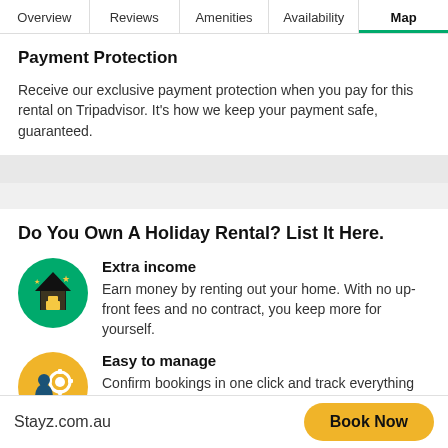Overview | Reviews | Amenities | Availability | Map
Payment Protection
Receive our exclusive payment protection when you pay for this rental on Tripadvisor. It's how we keep your payment safe, guaranteed.
Do You Own A Holiday Rental? List It Here.
[Figure (illustration): Green circle icon with a yellow house and stars]
Extra income
Earn money by renting out your home. With no up-front fees and no contract, you keep more for yourself.
[Figure (illustration): Yellow circle icon with a person and gear/settings symbol]
Easy to manage
Confirm bookings in one click and track everything from...
Stayz.com.au   Book Now